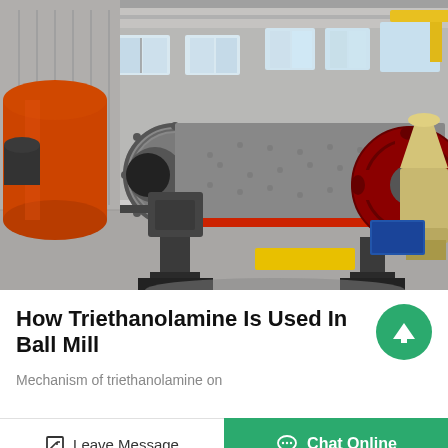[Figure (photo): Industrial ball mill machine in a warehouse/factory setting. Large grey cylindrical drum with red ring and drive wheel on the right. Orange tank on the left. Yellow forklift pad on floor. Other industrial equipment in background.]
How Triethanolamine Is Used In Ball Mill
Mechanism of triethanolamine on
Leave Message
Chat Online